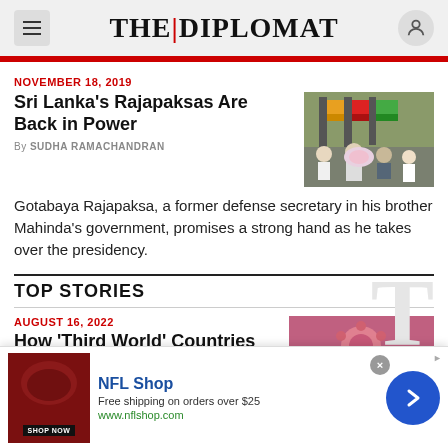THE DIPLOMAT
NOVEMBER 18, 2019
Sri Lanka's Rajapaksas Are Back in Power
By SUDHA RAMACHANDRAN
[Figure (photo): Photo of Sri Lanka ceremony with flags and military officials]
Gotabaya Rajapaksa, a former defense secretary in his brother Mahinda's government, promises a strong hand as he takes over the presidency.
TOP STORIES
AUGUST 16, 2022
How 'Third World' Countries
[Figure (photo): Photo related to second article]
[Figure (photo): NFL Shop advertisement banner with product image and arrow]